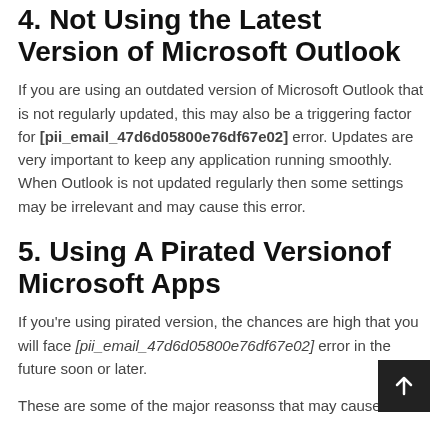4. Not Using the Latest Version of Microsoft Outlook
If you are using an outdated version of Microsoft Outlook that is not regularly updated, this may also be a triggering factor for [pii_email_47d6d05800e76df67e02] error. Updates are very important to keep any application running smoothly. When Outlook is not updated regularly then some settings may be irrelevant and may cause this error.
5. Using A Pirated Versionof Microsoft Apps
If you're using pirated version, the chances are high that you will face [pii_email_47d6d05800e76df67e02] error in the future soon or later.
These are some of the major reasonss that may cause